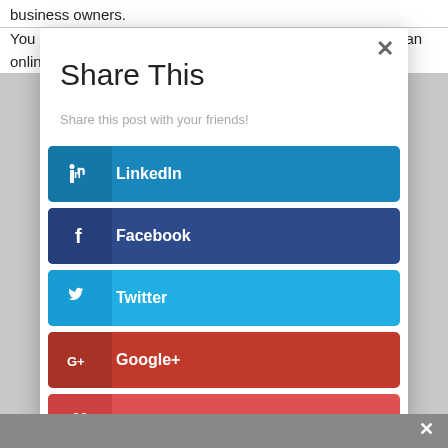business owners.
You may recall a story from earlier this month about Australian online retailer Sage and Clare who lost $10k in
Share This
Share this post with your friends!
LinkedIn
Facebook
Twitter
Google+
Like
...